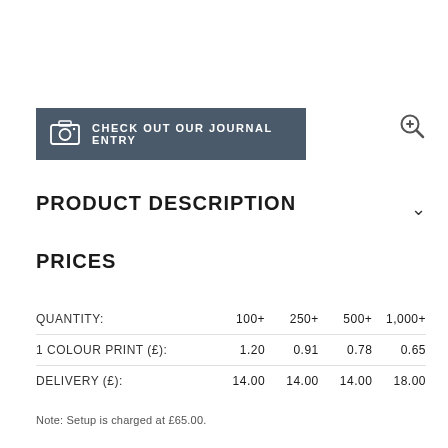[Figure (other): Dark grey banner button with camera icon and text: CHECK OUT OUR JOURNAL ENTRY]
PRODUCT DESCRIPTION
PRICES
| QUANTITY: | 100+ | 250+ | 500+ | 1,000+ |
| --- | --- | --- | --- | --- |
| 1 COLOUR PRINT (£): | 1.20 | 0.91 | 0.78 | 0.65 |
| DELIVERY (£): | 14.00 | 14.00 | 14.00 | 18.00 |
Note: Setup is charged at £65.00.